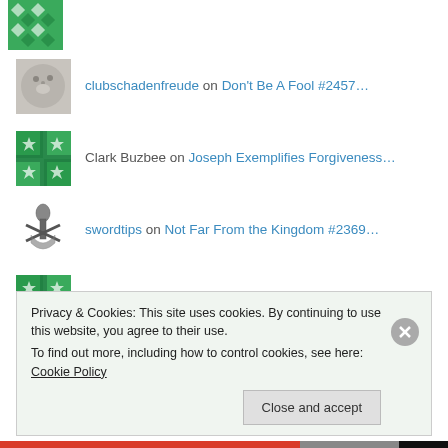clubschadenfreude on Don't Be A Fool #2457…
Clark Buzbee on Joseph Exemplifies Forgiveness…
swordtips on Not Far From the Kingdom #2369…
Clark Buzbee on Not Far From the Kingdom #2369…
Privacy & Cookies: This site uses cookies. By continuing to use this website, you agree to their use. To find out more, including how to control cookies, see here: Cookie Policy
Close and accept